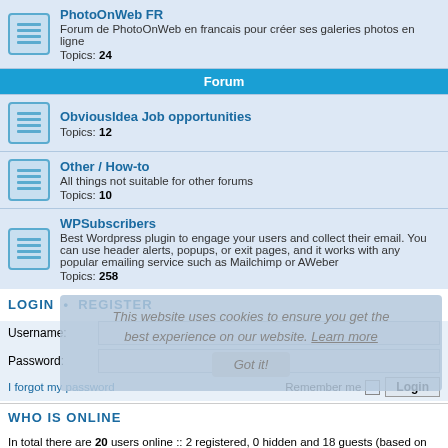PhotoOnWeb FR — Forum de PhotoOnWeb en francais pour créer ses galeries photos en ligne — Topics: 24
Forum
ObviousIdea Job opportunities — Topics: 12
Other / How-to — All things not suitable for other forums — Topics: 10
WPSubscribers — Best Wordpress plugin to engage your users and collect their email. You can use header alerts, popups, or exit pages, and it works with any popular emailing service such as Mailchimp or AWeber — Topics: 258
LOGIN • REGISTER
Username:
Password:
I forgot my password
Remember me  Login
WHO IS ONLINE
In total there are 20 users online :: 2 registered, 0 hidden and 18 guests (based on users active over the past 5 minutes)
Most users ever online was 167 on Sat Sep 11, 2021 11:34 pm